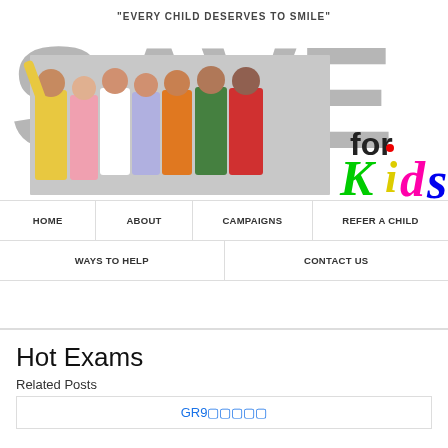[Figure (logo): Save for Kids logo with tagline 'Every Child Deserves to Smile', large SAVE text in gray, children photo, and colorful 'for Kids' handwritten text]
HOME
ABOUT
CAMPAIGNS
REFER A CHILD
WAYS TO HELP
CONTACT US
Hot Exams
Related Posts
GR9🔲🔲🔲🔲🔲